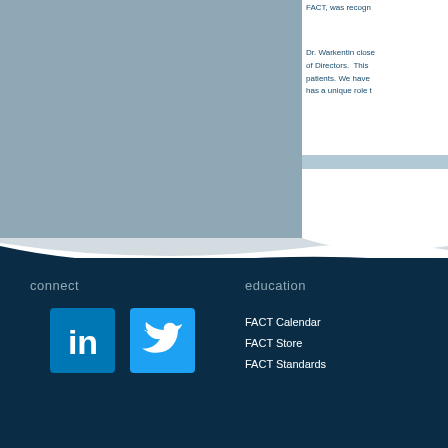[Figure (photo): Blue-gray colored image area on the left side of the page, partial view of a person or background]
FACT, was recogn
Dr. Warkentin close of Directors. This patients. We have has a unique role t
[Figure (other): Light blue highlight bar]
connect
education
[Figure (logo): LinkedIn logo - white 'in' on blue background]
[Figure (logo): Twitter logo - white bird on light blue background]
FACT Calendar
FACT Store
FACT Standards